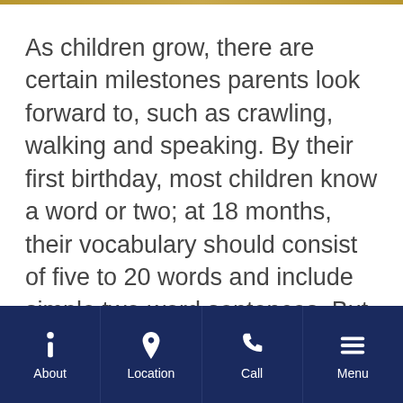As children grow, there are certain milestones parents look forward to, such as crawling, walking and speaking. By their first birthday, most children know a word or two; at 18 months, their vocabulary should consist of five to 20 words and include simple two-word sentences. But these are rough guidelines. Every child progresses at a different pace.
About | Location | Call | Menu